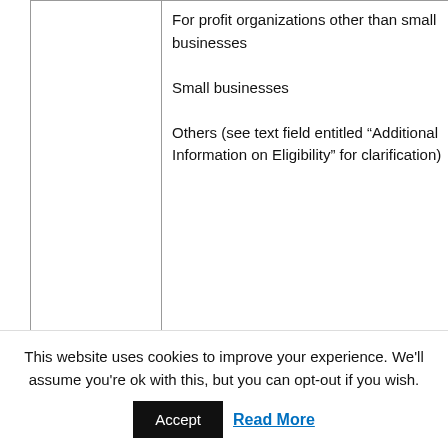|  | For profit organizations other than small businesses
Small businesses
Others (see text field entitled “Additional Information on Eligibility” for clarification) |
| Additional Information on Eligibility: | Other Eligible Applicants include the following: Alaska Native and Native Hawaiian Serving Institutions; Asian American Native American Pacific Islander Serving Institutions (AANAPISISs); Eligible Agencies of the Federal Government; Faith-based or Community-based Organizations; |
This website uses cookies to improve your experience. We'll assume you're ok with this, but you can opt-out if you wish.